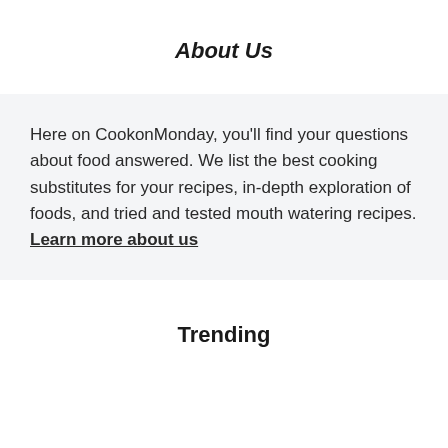About Us
Here on CookonMonday, you'll find your questions about food answered. We list the best cooking substitutes for your recipes, in-depth exploration of foods, and tried and tested mouth watering recipes. Learn more about us
Trending